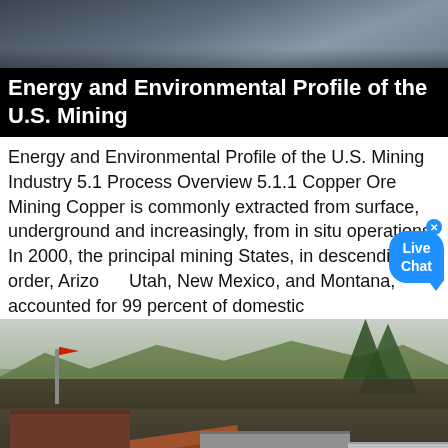[Figure (photo): Aerial/landscape photo of a rocky terrain or mining area, dark muted tones, appears as a header image]
Energy and Environmental Profile of the U.S. Mining
Energy and Environmental Profile of the U.S. Mining Industry 5.1 Process Overview 5.1.1 Copper Ore Mining Copper is commonly extracted from surface, underground and increasingly, from in situ operations. In 2000, the principal mining States, in descending order, Arizona, Utah, New Mexico, and Montana, accounted for 99 percent of domestic
[Figure (photo): Photo of a mining facility with industrial structures, conveyor belts, and equipment set against a hillside with trees and mountains in the background]